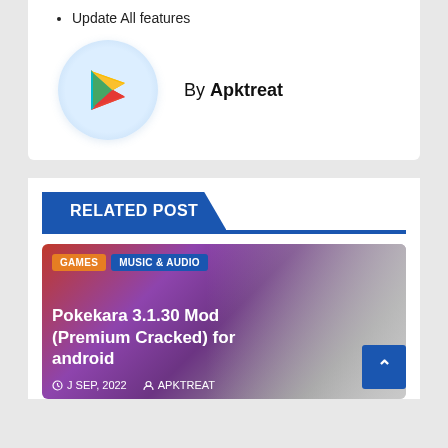Update All features
[Figure (logo): Google Play Store logo icon in a light blue circular background]
By Apktreat
RELATED POST
[Figure (screenshot): Pokekara 3.1.30 Mod (Premium Cracked) for android app thumbnail with colorful gradient background, category tags GAMES and MUSIC & AUDIO, title text, date J SEP, 2022 and author APKTREAT]
Pokekara 3.1.30 Mod (Premium Cracked) for android
J SEP, 2022   APKTREAT